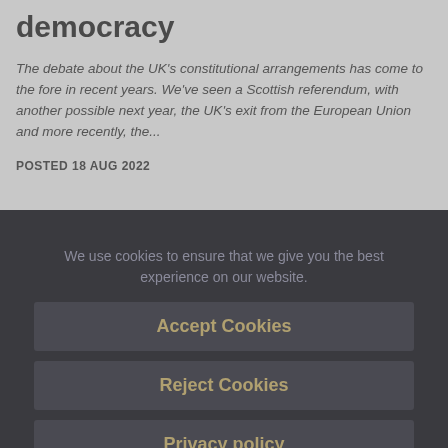democracy
The debate about the UK's constitutional arrangements has come to the fore in recent years. We've seen a Scottish referendum, with another possible next year, the UK's exit from the European Union and more recently, the...
POSTED 18 AUG 2022
We use cookies to ensure that we give you the best experience on our website.
Accept Cookies
Reject Cookies
Privacy policy